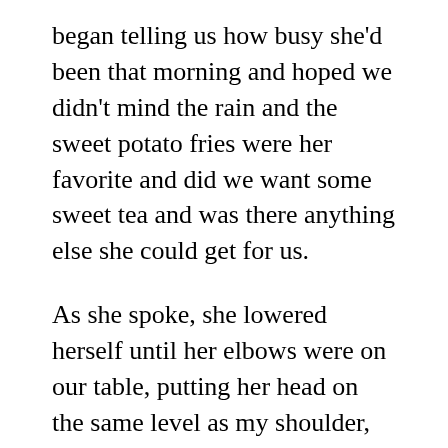began telling us how busy she'd been that morning and hoped we didn't mind the rain and the sweet potato fries were her favorite and did we want some sweet tea and was there anything else she could get for us.
As she spoke, she lowered herself until her elbows were on our table, putting her head on the same level as my shoulder, so that she had to look up at us. With her butt in the air, she